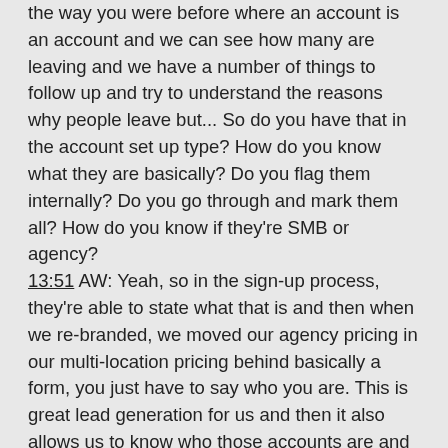the way you were before where an account is an account and we can see how many are leaving and we have a number of things to follow up and try to understand the reasons why people leave but... So do you have that in the account set up type? How do you know what they are basically? Do you flag them internally? Do you go through and mark them all? How do you know if they're SMB or agency?
13:51 AW: Yeah, so in the sign-up process, they're able to state what that is and then when we re-branded, we moved our agency pricing in our multi-location pricing behind basically a form, you just have to say who you are. This is great lead generation for us and then it also allows us to know who those accounts are and then the sales person for agencies and working with them and then you need your account to be an agency account for it to work the right way with the agency dashboard we have. And